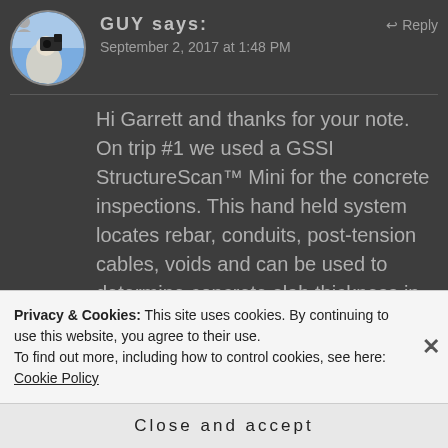[Figure (photo): Circular avatar photo of user 'GUY' showing a person with a camera against a sky background]
GUY says:
September 2, 2017 at 1:48 PM
Hi Garrett and thanks for your note. On trip #1 we used a GSSI StructureScan™ Mini for the concrete inspections. This hand held system locates rebar, conduits, post-tension cables, voids and can be used to determine concrete slab thickness in real-time. We found that the unit was fantastic and worked well however
Privacy & Cookies: This site uses cookies. By continuing to use this website, you agree to their use.
To find out more, including how to control cookies, see here: Cookie Policy
Close and accept